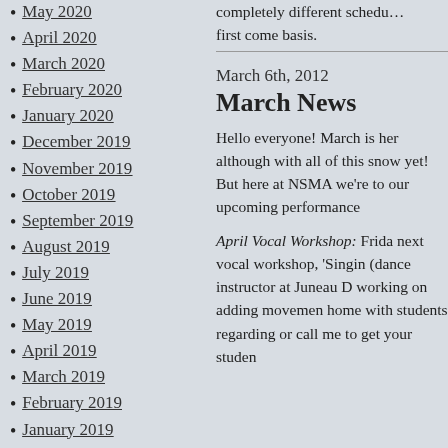May 2020
April 2020
March 2020
February 2020
January 2020
December 2019
November 2019
October 2019
September 2019
August 2019
July 2019
June 2019
May 2019
April 2019
March 2019
February 2019
January 2019
December 2018
November 2018
October 2018
September 2018
August 2018
July 2018
June 2018
May 2018
April 2018
March 2018
completely different schedule... first come basis.
March 6th, 2012
March News
Hello everyone! March is here, although with all of this snow yet! But here at NSMA we're to our upcoming performance
April Vocal Workshop: Friday next vocal workshop, 'Singing (dance instructor at Juneau D working on adding movement home with students regarding or call me to get your studen